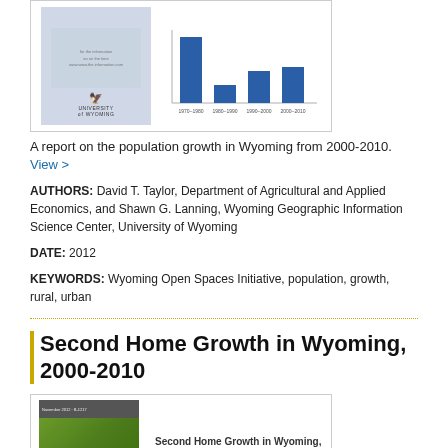[Figure (other): Thumbnail image of a report cover with University of Wyoming logo and a bar chart showing population growth data]
A report on the population growth in Wyoming from 2000-2010. View >
AUTHORS: David T. Taylor, Department of Agricultural and Applied Economics, and Shawn G. Lanning, Wyoming Geographic Information Science Center, University of Wyoming
DATE: 2012
KEYWORDS: Wyoming Open Spaces Initiative, population, growth, rural, urban
Second Home Growth in Wyoming, 2000-2010
[Figure (other): Thumbnail image of the Second Home Growth in Wyoming 2000-2010 report cover with green forest photo]